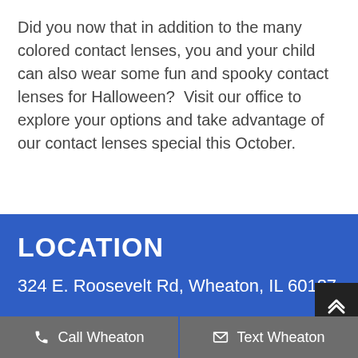Did you now that in addition to the many colored contact lenses, you and your child can also wear some fun and spooky contact lenses for Halloween?  Visit our office to explore your options and take advantage of our contact lenses special this October.
LOCATION
324 E. Roosevelt Rd, Wheaton, IL 60187
Call Wheaton
Text Wheaton